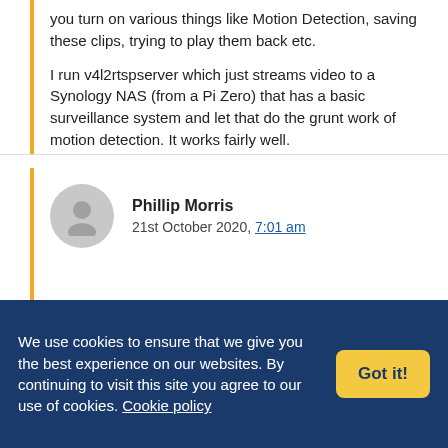you turn on various things like Motion Detection, saving these clips, trying to play them back etc.

I run v4l2rtspserver which just streams video to a Synology NAS (from a Pi Zero) that has a basic surveillance system and let that do the grunt work of motion detection. It works fairly well.
Phillip Morris
21st October 2020, 7:01 am
We use cookies to ensure that we give you the best experience on our websites. By continuing to visit this site you agree to our use of cookies. Cookie policy